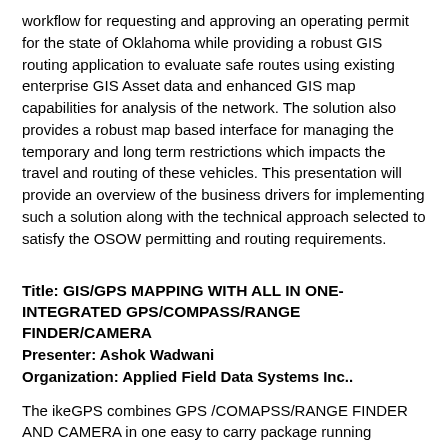workflow for requesting and approving an operating permit for the state of Oklahoma while providing a robust GIS routing application to evaluate safe routes using existing enterprise GIS Asset data and enhanced GIS map capabilities for analysis of the network. The solution also provides a robust map based interface for managing the temporary and long term restrictions which impacts the travel and routing of these vehicles. This presentation will provide an overview of the business drivers for implementing such a solution along with the technical approach selected to satisfy the OSOW permitting and routing requirements.
Title: GIS/GPS MAPPING WITH ALL IN ONE- INTEGRATED GPS/COMPASS/RANGE FINDER/CAMERA
Presenter: Ashok Wadwani
Organization: Applied Field Data Systems Inc..
The ikeGPS combines GPS /COMAPSS/RANGE FINDER AND CAMERA in one easy to carry package running ARCPAD. For GPS mapping professionals, all they need is to carry this single light weight unit to collect GPS data with offsets and